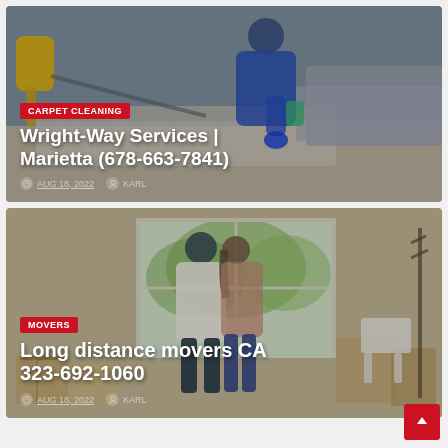[Figure (photo): Blog card 1: Carpet cleaning service photo showing a person in blue uniform cleaning a carpet with a vacuum/steam machine. Yellow vacuum equipment visible on left. Shows a gray sofa in the background.]
CARPET CLEANING
Wright-Way Services | Marietta (678-663-7841)
AUG 18, 2022  KARL
[Figure (photo): Blog card 2: Moving service photo showing a couple standing in an empty room looking out a window, surrounded by moving boxes. Bright light coming through the window, green trees visible outside.]
MOVERS
Long distance movers CA 323-692-1060
AUG 18, 2022  KARL